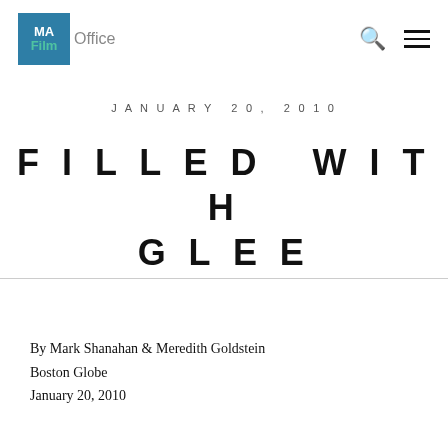MA Film Office
JANUARY 20, 2010
FILLED WITH GLEE
By Mark Shanahan & Meredith Goldstein
Boston Globe
January 20, 2010